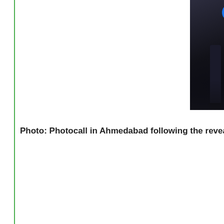[Figure (photo): Person standing next to a white car front at a photocall event, dark floor with reflection, social media icons overlaid in top right corner]
Photo: Photocall in Ahmedabad following the reveal o
[Figure (photo): Dark dramatic photo of a car, mostly black with subtle lighting highlighting the vehicle shape]